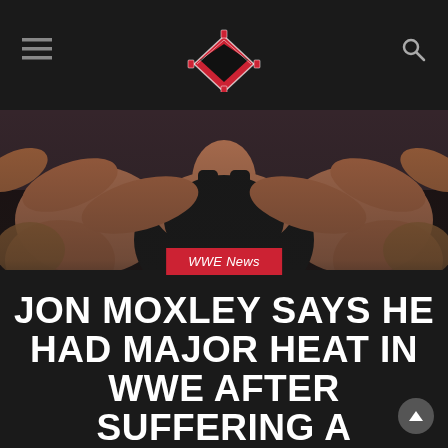WWE News website header with logo, hamburger menu, and search icon
[Figure (photo): Close-up photo of a muscular wrestler (Jon Moxley) with arms extended, wearing a black tank top, with crowd visible in background]
WWE News
JON MOXLEY SAYS HE HAD MAJOR HEAT IN WWE AFTER SUFFERING A CONCUSSION
NOVEMBER 8, 2021 | SUBHOJEET MUKHERJEE